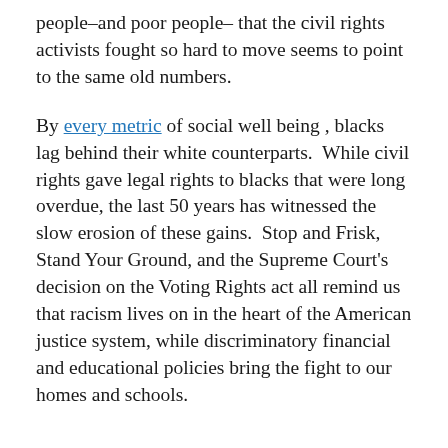people–and poor people– that the civil rights activists fought so hard to move seems to point to the same old numbers.
By every metric of social well being , blacks lag behind their white counterparts.  While civil rights gave legal rights to blacks that were long overdue, the last 50 years has witnessed the slow erosion of these gains.  Stop and Frisk, Stand Your Ground, and the Supreme Court's decision on the Voting Rights act all remind us that racism lives on in the heart of the American justice system, while discriminatory financial and educational policies bring the fight to our homes and schools.